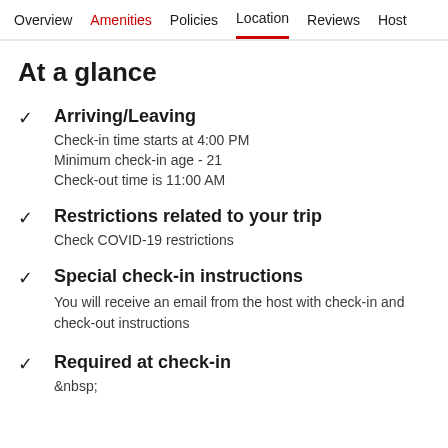Overview  Amenities  Policies  Location  Reviews  Host
At a glance
Arriving/Leaving
Check-in time starts at 4:00 PM
Minimum check-in age - 21
Check-out time is 11:00 AM
Restrictions related to your trip
Check COVID-19 restrictions
Special check-in instructions
You will receive an email from the host with check-in and check-out instructions
Required at check-in
&nbsp;